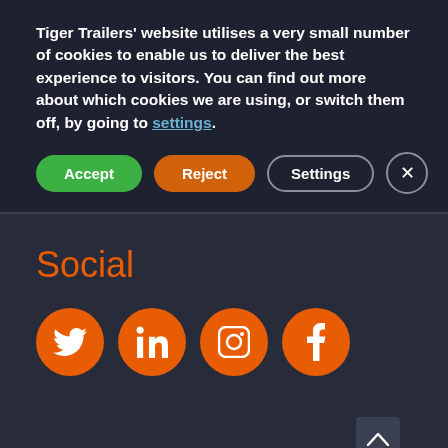Tiger Trailers' website utilises a very small number of cookies to enable us to deliver the best experience to visitors. You can find out more about which cookies we are using, or switch them off, by going to settings.
Accept | Reject | Settings | X
Social
[Figure (other): Four orange circular social media icon buttons: Twitter, LinkedIn, Instagram, Facebook]
[Figure (other): Scroll to top arrow button in bottom right]